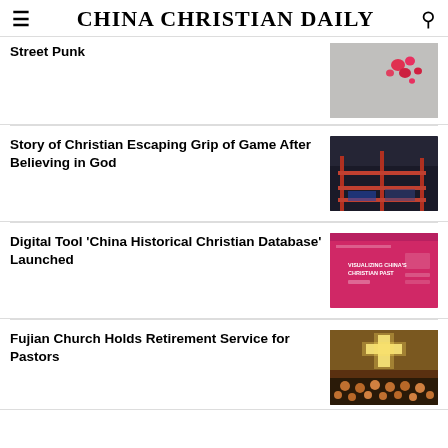CHINA CHRISTIAN DAILY
Street Punk
[Figure (photo): Red heart shapes on a light gray wall background]
Story of Christian Escaping Grip of Game After Believing in God
[Figure (photo): Dark warehouse interior with red metal shelving structures]
Digital Tool 'China Historical Christian Database' Launched
[Figure (screenshot): Pink/red website screenshot with text 'VISUALIZING CHINA'S CHRISTIAN PAST']
Fujian Church Holds Retirement Service for Pastors
[Figure (photo): Church interior with glowing cross and congregation below]